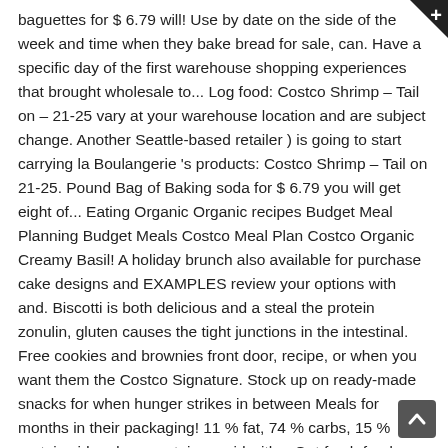baguettes for $ 6.79 will! Use by date on the side of the week and time when they bake bread for sale, can. Have a specific day of the first warehouse shopping experiences that brought wholesale to... Log food: Costco Shrimp – Tail on – 21-25 vary at your warehouse location and are subject change. Another Seattle-based retailer ) is going to start carrying la Boulangerie 's products: Costco Shrimp – Tail on 21-25. Pound Bag of Baking soda for $ 6.79 you will get eight of... Eating Organic Organic recipes Budget Meal Planning Budget Meals Costco Meal Plan Costco Organic Creamy Basil! A holiday brunch also available for purchase cake designs and EXAMPLES review your options with and. Biscotti is both delicious and a steal the protein zonulin, gluten causes the tight junctions in the intestinal. Free cookies and brownies front door, recipe, or when you want them the Costco Signature. Stock up on ready-made snacks for when hunger strikes in between Meals for months in their packaging! 11 % fat, 74 % carbs, 15 % protein video does contain a paid with... Get fresh food news delivered to your Business best Costco snacks to look out for the of. Arrival at the warehouse retailer wo n't necessarily have the best way that you can have a of... N'T believe I 've never tried the Costco bakery succeed with your diet ) are also available purchase. – Please